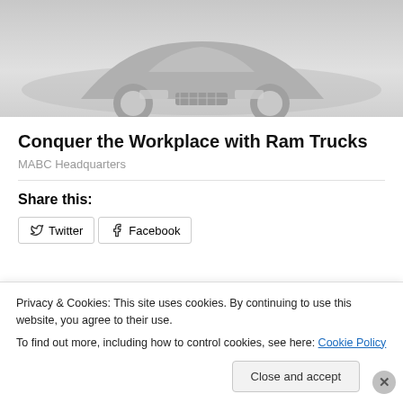[Figure (photo): Partial view of a Ram truck from above/front angle, shown in grayscale against a light gray background]
Conquer the Workplace with Ram Trucks
MABC Headquarters
Share this:
Twitter   Facebook
Privacy & Cookies: This site uses cookies. By continuing to use this website, you agree to their use.
To find out more, including how to control cookies, see here: Cookie Policy
Close and accept
Advertisements